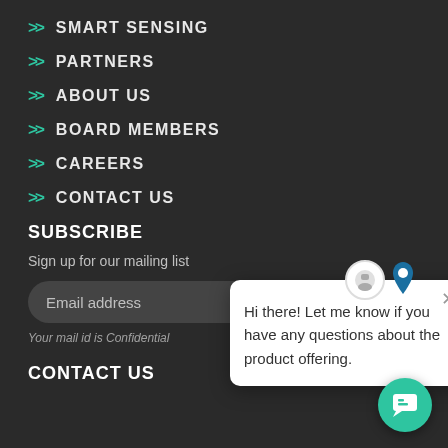>> SMART SENSING
>> PARTNERS
>> ABOUT US
>> BOARD MEMBERS
>> CAREERS
>> CONTACT US
SUBSCRIBE
Sign up for our mailing list
Email address
Your mail id is Confidential
CONTACT US
[Figure (screenshot): Chat popup widget with message: Hi there! Let me know if you have any questions about the product offering. With a close (X) button and chat avatar icons above.]